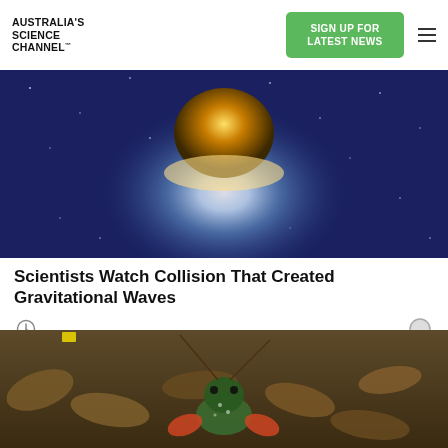AUSTRALIA'S SCIENCE CHANNEL™
SIGN UP FOR LATEST NEWS
[Figure (photo): Space image showing a glowing celestial body or explosion against a blue starfield background]
Scientists Watch Collision That Created Gravitational Waves
[Figure (photo): Underwater photo of a crayfish or lobster on a sandy bottom covered with leaves]